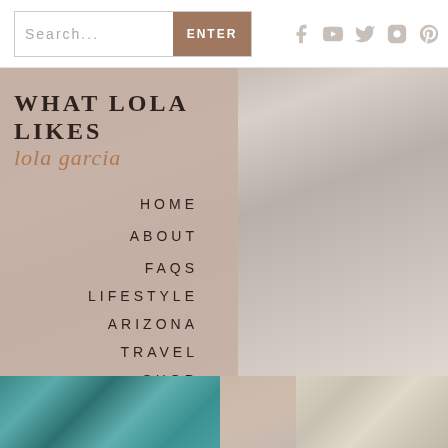Search... ENTER | Social icons: Facebook, YouTube, Twitter, Instagram, Pinterest
WHAT LOLA LIKES lola garcia
HOME
ABOUT
FAQS
LIFESTYLE
ARIZONA
TRAVEL
SHOP
CONTRIBUTORS
CONTACT
[Figure (photo): Woman in white outfit seated, photo background on right side of page]
[Figure (photo): Bottom strip showing teal woven pattern on left, blurred portrait in center, cream/beige woven pattern on right]